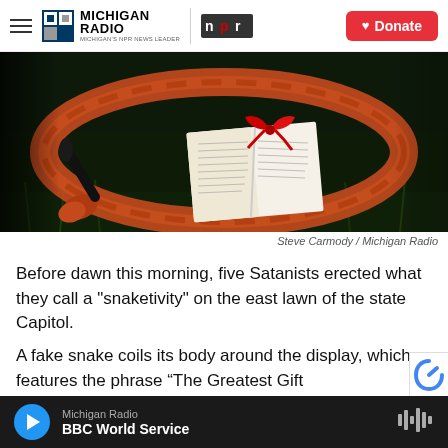Michigan Radio / NPR — Donate
[Figure (photo): A fake snake coiled on grass at night with an open book and a red bow on top, photographed in dark outdoor setting.]
Steve Carmody / Michigan Radio
Before dawn this morning, five Satanists erected what they call a "snaketivity" on the east lawn of the state Capitol.
A fake snake coils its body around the display, which features the phrase “The Greatest Gift
Michigan Radio — BBC World Service